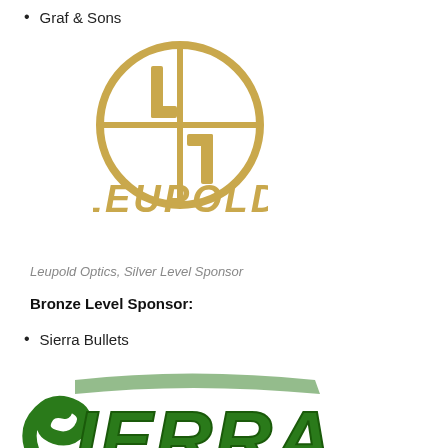Graf & Sons
[Figure (logo): Leupold Optics logo: gold circle with crosshair scope reticle and stylized L, with LEUPOLD text in gold below]
Leupold Optics, Silver Level Sponsor
Bronze Level Sponsor:
Sierra Bullets
[Figure (logo): Sierra Bullets logo: green stylized text SIERRA with decorative script, partially visible at bottom of page]